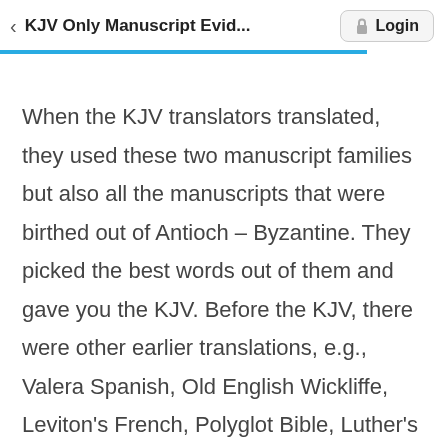KJV Only Manuscript Evid... Login
When the KJV translators translated, they used these two manuscript families but also all the manuscripts that were birthed out of Antioch – Byzantine. They picked the best words out of them and gave you the KJV. Before the KJV, there were other earlier translations, e.g., Valera Spanish, Old English Wickliffe, Leviton's French, Polyglot Bible, Luther's German. There are 7 to 14 different editions of the Textus Receptus – so the KJV translators took all of these to give you a